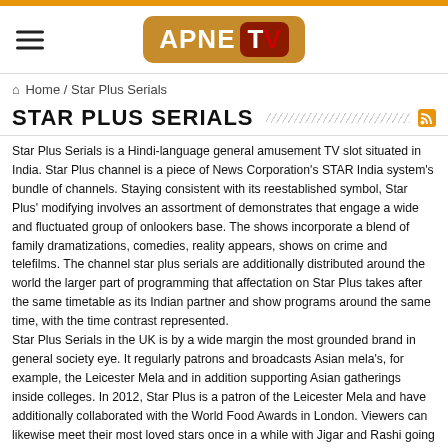APNE TV
Home / Star Plus Serials
STAR PLUS SERIALS
Star Plus Serials is a Hindi-language general amusement TV slot situated in India. Star Plus channel is a piece of News Corporation's STAR India system's bundle of channels. Staying consistent with its reestablished symbol, Star Plus' modifying involves an assortment of demonstrates that engage a wide and fluctuated group of onlookers base. The shows incorporate a blend of family dramatizations, comedies, reality appears, shows on crime and telefilms. The channel star plus serials are additionally distributed around the world the larger part of programming that affectation on Star Plus takes after the same timetable as its Indian partner and show programs around the same time, with the time contrast represented.
Star Plus Serials in the UK is by a wide margin the most grounded brand in general society eye. It regularly patrons and broadcasts Asian mela's, for example, the Leicester Mela and in addition supporting Asian gatherings inside colleges. In 2012, Star Plus is a patron of the Leicester Mela and have additionally collaborated with the World Food Awards in London. Viewers can likewise meet their most loved stars once in a while with Jigar and Rashi going to the UK in July 2012.